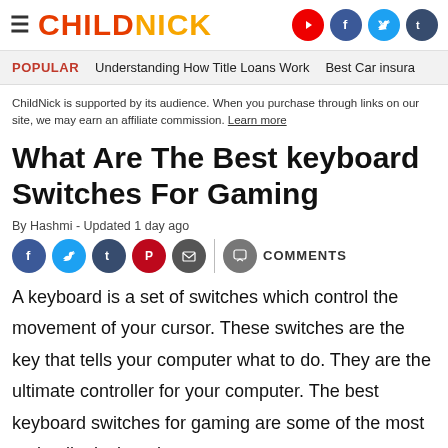CHILDNICK
POPULAR   Understanding How Title Loans Work   Best Car insura
ChildNick is supported by its audience. When you purchase through links on our site, we may earn an affiliate commission. Learn more
What Are The Best keyboard Switches For Gaming
By Hashmi - Updated 1 day ago
A keyboard is a set of switches which control the movement of your cursor. These switches are the key that tells your computer what to do. They are the ultimate controller for your computer. The best keyboard switches for gaming are some of the most optimally designed